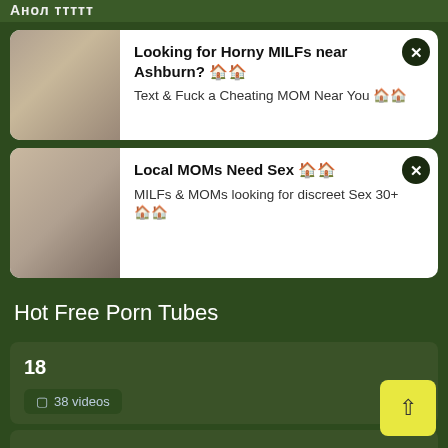Анол ттттт
[Figure (screenshot): Advertisement card: Looking for Horny MILFs near Ashburn? Text & Fuck a Cheating MOM Near You]
[Figure (screenshot): Advertisement card: Local MOMs Need Sex. MILFs & MOMs looking for discreet Sex 30+]
Hot Free Porn Tubes
18
📹 38 videos
18yo